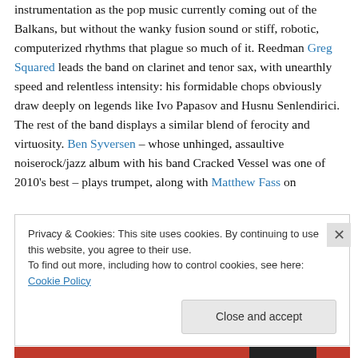instrumentation as the pop music currently coming out of the Balkans, but without the wanky fusion sound or stiff, robotic, computerized rhythms that plague so much of it. Reedman Greg Squared leads the band on clarinet and tenor sax, with unearthly speed and relentless intensity: his formidable chops obviously draw deeply on legends like Ivo Papasov and Husnu Senlendirici. The rest of the band displays a similar blend of ferocity and virtuosity. Ben Syversen – whose unhinged, assaultive noiserock/jazz album with his band Cracked Vessel was one of 2010's best – plays trumpet, along with Matthew Fass on
Privacy & Cookies: This site uses cookies. By continuing to use this website, you agree to their use.
To find out more, including how to control cookies, see here: Cookie Policy